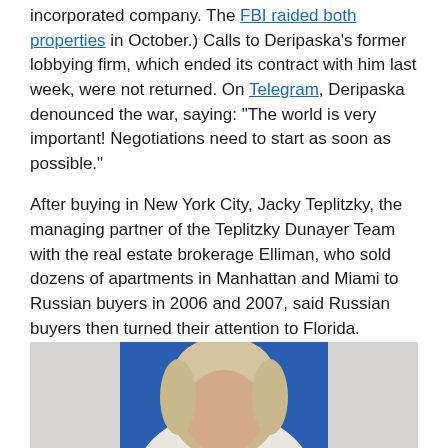incorporated company. The FBI raided both properties in October.) Calls to Deripaska's former lobbying firm, which ended its contract with him last week, were not returned. On Telegram, Deripaska denounced the war, saying: “The world is very important! Negotiations need to start as soon as possible.”
After buying in New York City, Jacky Teplitzky, the managing partner of the Teplitzky Dunayer Team with the real estate brokerage Elliman, who sold dozens of apartments in Manhattan and Miami to Russian buyers in 2006 and 2007, said Russian buyers then turned their attention to Florida.
[Figure (photo): Partial photo of a person with blonde/grey hair against a blue background, cropped at the bottom of the page]